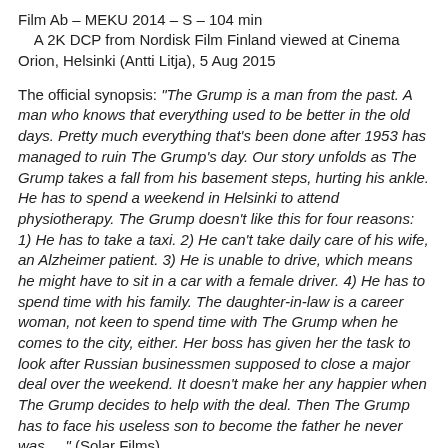Film Ab – MEKU 2014 – S – 104 min
    A 2K DCP from Nordisk Film Finland viewed at Cinema Orion, Helsinki (Antti Litja), 5 Aug 2015
The official synopsis: "The Grump is a man from the past. A man who knows that everything used to be better in the old days. Pretty much everything that's been done after 1953 has managed to ruin The Grump's day. Our story unfolds as The Grump takes a fall from his basement steps, hurting his ankle. He has to spend a weekend in Helsinki to attend physiotherapy. The Grump doesn't like this for four reasons: 1) He has to take a taxi. 2) He can't take daily care of his wife, an Alzheimer patient. 3) He is unable to drive, which means he might have to sit in a car with a female driver. 4) He has to spend time with his family. The daughter-in-law is a career woman, not keen to spend time with The Grump when he comes to the city, either. Her boss has given her the task to look after Russian businessmen supposed to close a major deal over the weekend. It doesn't make her any happier when The Grump decides to help with the deal. Then The Grump has to face his useless son to become the father he never was...  " (Solar Films)